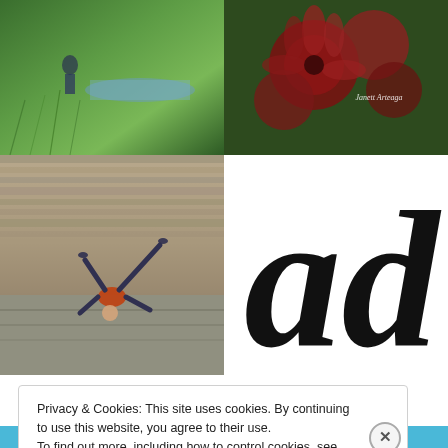[Figure (photo): Photo of a person near a grass-lined waterway or path, green grass visible]
[Figure (photo): Photo of dark red/crimson flowers (dahlias) against a green background, with 'Janett Arteaga' watermark text]
[Figure (photo): Photo of a person performing an acrobatic handstand/balance pose in front of an ornate stone temple or monument]
[Figure (illustration): Large black italic cursive letter 'ad' logo/wordmark on white background]
Privacy & Cookies: This site uses cookies. By continuing to use this website, you agree to their use.
To find out more, including how to control cookies, see here: Cookie Policy
Close and accept